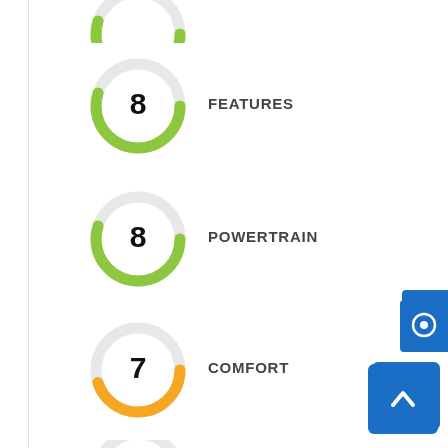[Figure (donut-chart): Partially visible green donut chart at top of page, cropped]
[Figure (donut-chart): Green donut chart showing score of 8 for FEATURES]
FEATURES
[Figure (donut-chart): Green donut chart showing score of 8 for POWERTRAIN]
POWERTRAIN
[Figure (donut-chart): Orange donut chart showing score of 7 for COMFORT]
COMFORT
[Figure (donut-chart): Partially visible green donut chart at bottom of page, cropped]